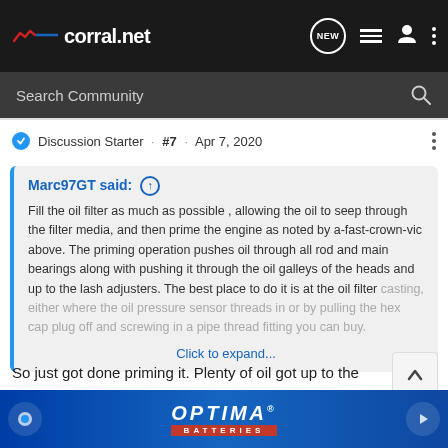[Figure (screenshot): corral.net website navigation bar with logo, search, and icons]
Discussion Starter · #7 · Apr 7, 2020
Marc97GT said: ↑
Fill the oil filter as much as possible , allowing the oil to seep through the filter media, and then prime the engine as noted by a-fast-crown-vic above. The priming operation pushes oil through all rod and main bearings along with pushing it through the oil galleys of the heads and up to the lash adjusters. The best place to do it is at the oil filter casting, either where the oil pressure sensor threads in or by pulling the hex cap plug off and screwing in a pipe thread fitting you can buy.
Click to expand...
So just got done priming it. Plenty of oil got up to the heads. There sti... ...crank. Should
[Figure (photo): Optima Batteries advertisement banner]